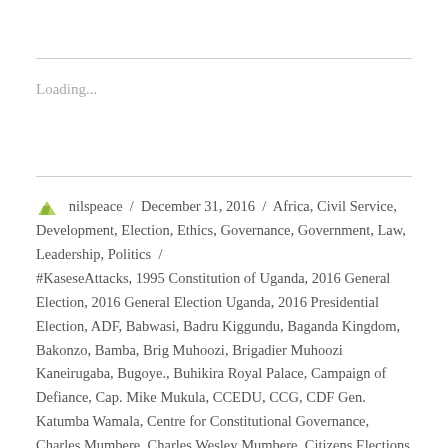Loading...
nilspeace / December 31, 2016 / Africa, Civil Service, Development, Election, Ethics, Governance, Government, Law, Leadership, Politics / #KaseseAttacks, 1995 Constitution of Uganda, 2016 General Election, 2016 General Election Uganda, 2016 Presidential Election, ADF, Babwasi, Badru Kiggundu, Baganda Kingdom, Bakonzo, Bamba, Brig Muhoozi, Brigadier Muhoozi Kaneirugaba, Bugoye., Buhikira Royal Palace, Campaign of Defiance, Cap. Mike Mukula, CCEDU, CCG, CDF Gen. Katumba Wamala, Centre for Constitutional Governance, Charles Mumbere, Charles Wesley Mumbere, Citizens Elections Observers Network Uganda, Citizens' Coalition for Electoral Democracy in